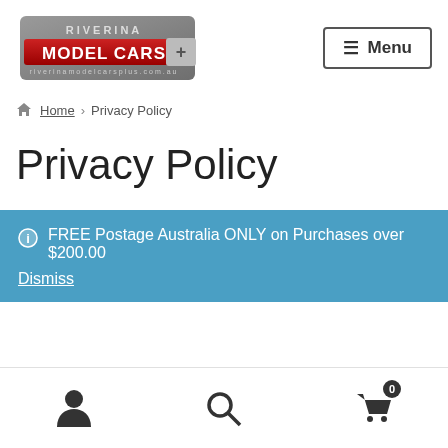[Figure (logo): Riverina Model Cars Plus logo — stylized text with red and silver design]
≡ Menu
Home > Privacy Policy
Privacy Policy
ℹ FREE Postage Australia ONLY on Purchases over $200.00
Dismiss
[Figure (illustration): Bottom navigation bar with person icon, search icon, and shopping cart icon with badge showing 0]